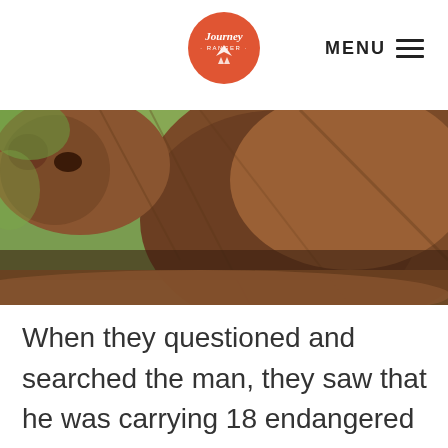Journey Ranger — MENU
[Figure (photo): Close-up photo of an animal (monkey) face and fur, taken from behind/side, showing brown fur against a green blurred background.]
When they questioned and searched the man, they saw that he was carrying 18 endangered titi monkeys in a girdle that was strapped to his stomach. He noted that they were previously in his case, but he took